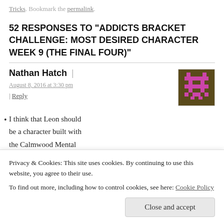Tricks. Bookmark the permalink.
52 RESPONSES TO "ADDICTS BRACKET CHALLENGE: MOST DESIRED CHARACTER WEEK 9 (THE FINAL FOUR)"
Nathan Hatch | August 8, 2016 at 3:30 pm | Reply
[Figure (illustration): Pixel art avatar in magenta and olive/brown colors, resembling a space invader character.]
I think that Leon should be a character built with the Calmwood Mental
Privacy & Cookies: This site uses cookies. By continuing to use this website, you agree to their use. To find out more, including how to control cookies, see here: Cookie Policy
Close and accept